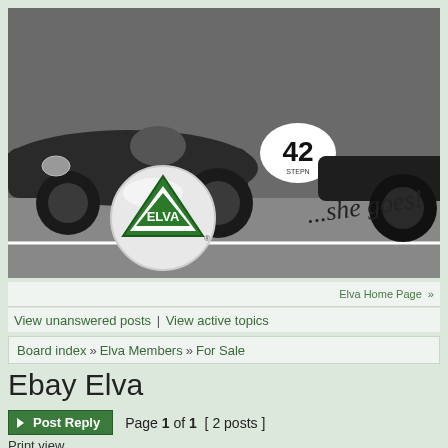[Figure (photo): Black and white photograph of vintage racing cars on a track. Car number 42 is visible. ELVA logo (green triangle with ELVA text in a silver circle) overlaid on lower left. Italic text '...she goes!' overlaid in center-right area.]
Elva Home Page »
View unanswered posts | View active topics
Board index » Elva Members » For Sale
Ebay Elva
► Post Reply   Page 1 of 1  [ 2 posts ]
Print view